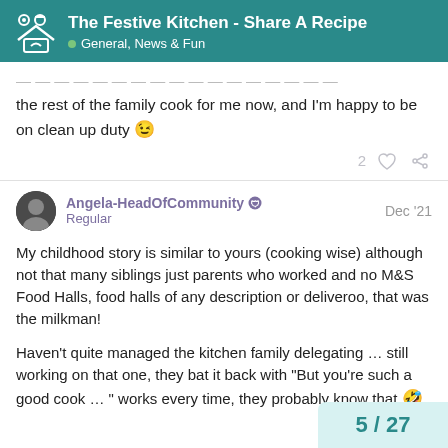The Festive Kitchen - Share A Recipe • General, News & Fun
the rest of the family cook for me now, and I'm happy to be on clean up duty 😉
Angela-HeadOfCommunity 🛡 Regular Dec '21
My childhood story is similar to yours (cooking wise) although not that many siblings just parents who worked and no M&S Food Halls, food halls of any description or deliveroo, that was the milkman!

Haven't quite managed the kitchen family delegating … still working on that one, they bat it back with "But you're such a good cook … " works every time, they probably know that 🤣
5 / 27